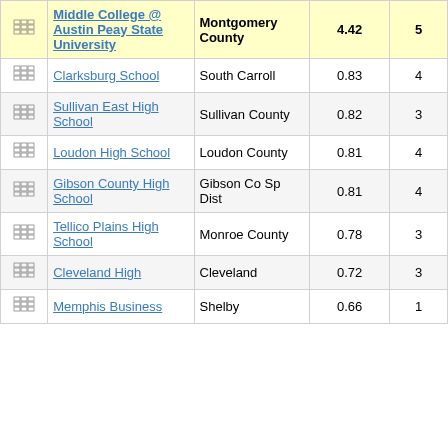|  | School | District | Score | Stars |
| --- | --- | --- | --- | --- |
| [icon] | Middle College @ Austin Peay State University | Montgomery County | 4.42 | 5 |
| [icon] | Clarksburg School | South Carroll | 0.83 | 4 |
| [icon] | Sullivan East High School | Sullivan County | 0.82 | 3 |
| [icon] | Loudon High School | Loudon County | 0.81 | 4 |
| [icon] | Gibson County High School | Gibson Co Sp Dist | 0.81 | 4 |
| [icon] | Tellico Plains High School | Monroe County | 0.78 | 3 |
| [icon] | Cleveland High | Cleveland | 0.72 | 3 |
| [icon] | Memphis Business | Shelby | 0.66 | 1 |